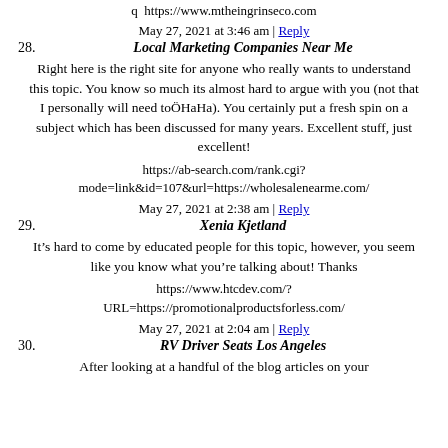q  https://www.mtheingrinseco.com
May 27, 2021 at 3:46 am | Reply
28. Local Marketing Companies Near Me
Right here is the right site for anyone who really wants to understand this topic. You know so much its almost hard to argue with you (not that I personally will need toÖHaHa). You certainly put a fresh spin on a subject which has been discussed for many years. Excellent stuff, just excellent!
https://ab-search.com/rank.cgi?mode=link&id=107&url=https://wholesalenearme.com/
May 27, 2021 at 2:38 am | Reply
29. Xenia Kjetland
It’s hard to come by educated people for this topic, however, you seem like you know what you’re talking about! Thanks
https://www.htcdev.com/?URL=https://promotionalproductsforless.com/
May 27, 2021 at 2:04 am | Reply
30. RV Driver Seats Los Angeles
After looking at a handful of the blog articles on your